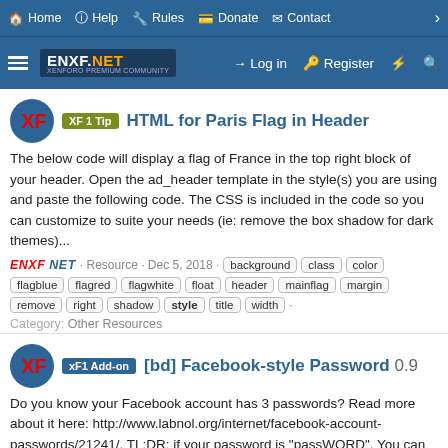Home  Help  Rules  Donate  Contact
ENXF.NET  Log in  Register
XF 1 Tip  HTML for Paris Flag in Header
The below code will display a flag of France in the top right block of your header. Open the ad_header template in the style(s) you are using and paste the following code. The CSS is included in the code so you can customize to suite your needs (ie: remove the box shadow for dark themes)...
ENXF NET · Resource · Dec 5, 2018 · background  class  color  flagblue  flagred  flagwhite  float  header  mainflag  margin  remove  right  shadow  style  title  width ·
Category: Other Resources
xF1 Add-on  [bd] Facebook-style Password 0.9
Do you know your Facebook account has 3 passwords? Read more about it here: http://www.labnol.org/internet/facebook-account-passwords/21241/. TL;DR: if your password is "passWORD". You can log into your account with "PASSword" or "PassWORD". This is done because so many people left their...
ENXF NET · Resource · Dec 5, 2018 · facebook  password